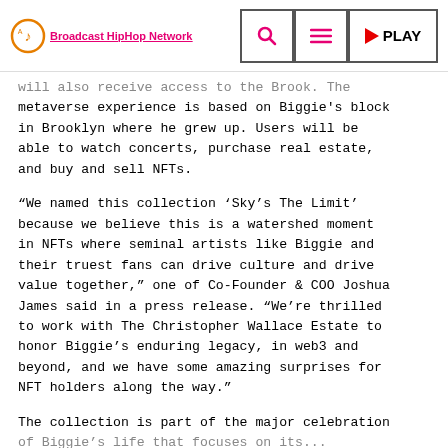Broadcast HipHop Network — navigation bar with search, menu, and PLAY buttons
will also receive access to the Brook. The metaverse experience is based on Biggie's block in Brooklyn where he grew up. Users will be able to watch concerts, purchase real estate, and buy and sell NFTs.
“We named this collection ‘Sky’s The Limit’ because we believe this is a watershed moment in NFTs where seminal artists like Biggie and their truest fans can drive culture and drive value together,” one of Co-Founder & COO Joshua James said in a press release. “We’re thrilled to work with The Christopher Wallace Estate to honor Biggie’s enduring legacy, in web3 and beyond, and we have some amazing surprises for NFT holders along the way.”
The collection is part of the major celebration of Biggie’s life that focuses on its...